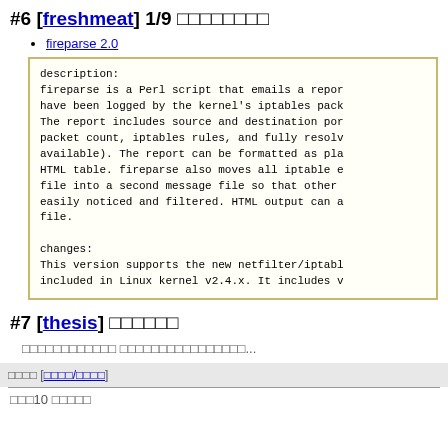#6 [freshmeat] 1/9 □□□□□□□□
fireparse 2.0
description:
fireparse is a Perl script that emails a report of packets that have been logged by the kernel's iptables packet filtering system. The report includes source and destination ports and addresses, packet count, iptables rules, and fully resolved hostnames (when available). The report can be formatted as plain text or as an HTML table. fireparse also moves all iptable entries from the messages file into a second message file so that other messages can be easily noticed and filtered. HTML output can also be saved to a file.

changes:
This version supports the new netfilter/iptables subsystem included in Linux kernel v2.4.x. It includes v
#7 [thesis] □□□□□□
□□□□□□□□□□□□ □□□□□□□□□□□□□□□□...
□□□□ [□□□□/□□□□]
□□□10 □□□□□